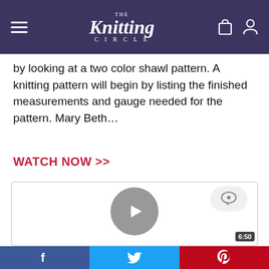The Knitting Circle
by looking at a two color shawl pattern. A knitting pattern will begin by listing the finished measurements and gauge needed for the pattern. Mary Beth…
WATCH NOW >>
[Figure (screenshot): Video player with grey play button in center and chat bubble icon, showing duration badge 6:50 in bottom right corner]
Facebook | Twitter | Pinterest social share bar